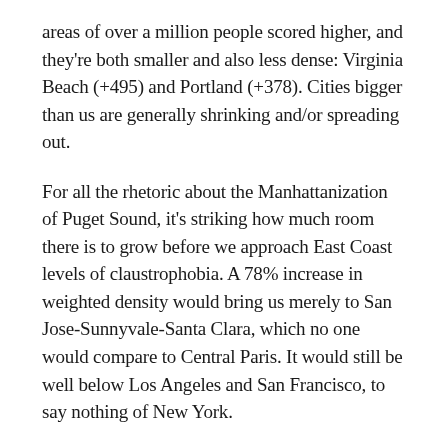areas of over a million people scored higher, and they're both smaller and also less dense: Virginia Beach (+495) and Portland (+378). Cities bigger than us are generally shrinking and/or spreading out.
For all the rhetoric about the Manhattanization of Puget Sound, it's striking how much room there is to grow before we approach East Coast levels of claustrophobia. A 78% increase in weighted density would bring us merely to San Jose-Sunnyvale-Santa Clara, which no one would compare to Central Paris. It would still be well below Los Angeles and San Francisco, to say nothing of New York.
The 50 densest cities from the spreadsheet are below the jump.